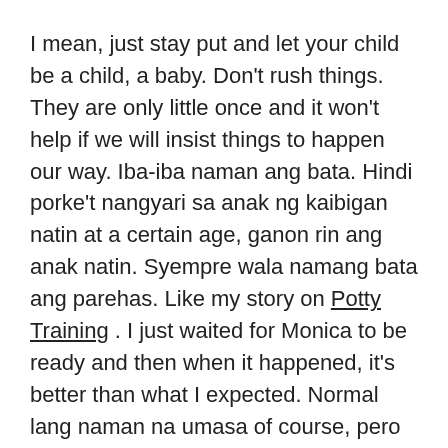I mean, just stay put and let your child be a child, a baby. Don't rush things. They are only little once and it won't help if we will insist things to happen our way. Iba-iba naman ang bata. Hindi porke't nangyari sa anak ng kaibigan natin at a certain age, ganon rin ang anak natin. Syempre wala namang bata ang parehas. Like my story on Potty Training . I just waited for Monica to be ready and then when it happened, it's better than what I expected. Normal lang naman na umasa of course, pero what I find not helping is, if we pressure ourselves and our kids just so we can say that we are on time or even ahead. Stress yun.
Another story I wanna share is, yung pagsusulat ni